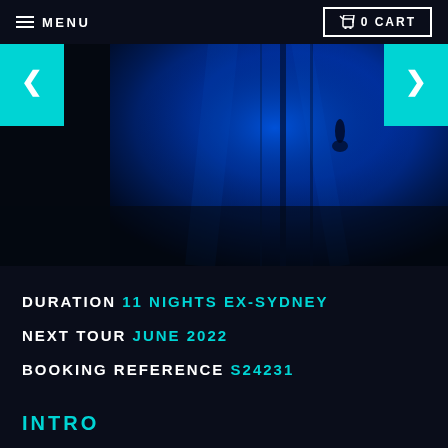MENU | 0 CART
[Figure (photo): Underwater scene with deep blue water, a diver silhouette, and structural elements (possibly a shipwreck or pier pillars) visible in the background]
DURATION 11 NIGHTS EX-SYDNEY
NEXT TOUR JUNE 2022
BOOKING REFERENCE S24231
INTRO